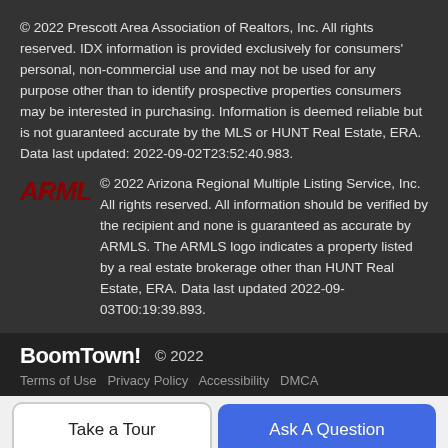© 2022 Prescott Area Association of Realtors, Inc. All rights reserved. IDX information is provided exclusively for consumers' personal, non-commercial use and may not be used for any purpose other than to identify prospective properties consumers may be interested in purchasing. Information is deemed reliable but is not guaranteed accurate by the MLS or HUNT Real Estate, ERA. Data last updated: 2022-09-02T23:52:40.983.
© 2022 Arizona Regional Multiple Listing Service, Inc. All rights reserved. All information should be verified by the recipient and none is guaranteed as accurate by ARMLS. The ARMLS logo indicates a property listed by a real estate brokerage other than HUNT Real Estate, ERA. Data last updated 2022-09-03T00:19:39.893.
BoomTown! © 2022
Terms of Use  Privacy Policy  Accessibility  DMCA
Take a Tour
Ask A Question